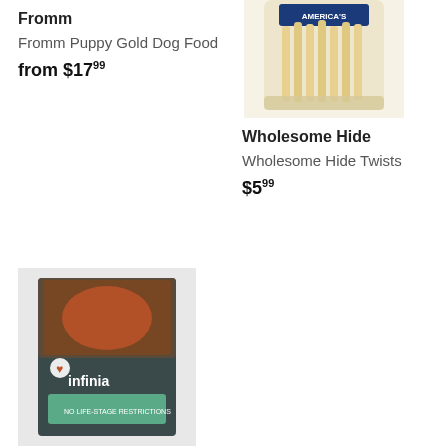Fromm
Fromm Puppy Gold Dog Food
from $17.99
[Figure (photo): Wholesome Hide Twists product photo showing a bag of rawhide twists]
Wholesome Hide
Wholesome Hide Twists
$5.99
[Figure (photo): Exclusive Infinia dog food bag product photo]
Exclusive Pet Food
Exclusive® Infinia® All